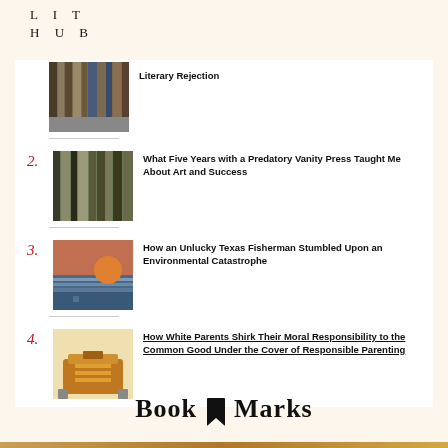LIT HUB
Literary Rejection
2. What Five Years with a Predatory Vanity Press Taught Me About Art and Success
3. How an Unlucky Texas Fisherman Stumbled Upon an Environmental Catastrophe
4. How White Parents Shirk Their Moral Responsibility to the Common Good Under the Cover of Responsible Parenting
Book Marks